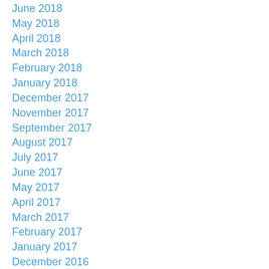June 2018
May 2018
April 2018
March 2018
February 2018
January 2018
December 2017
November 2017
September 2017
August 2017
July 2017
June 2017
May 2017
April 2017
March 2017
February 2017
January 2017
December 2016
November 2016
October 2016
September 2016